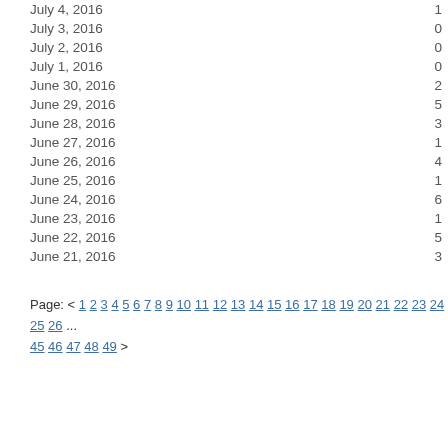| Date | Count |
| --- | --- |
| July 4, 2016 | 1 |
| July 3, 2016 | 0 |
| July 2, 2016 | 0 |
| July 1, 2016 | 0 |
| June 30, 2016 | 2 |
| June 29, 2016 | 5 |
| June 28, 2016 | 3 |
| June 27, 2016 | 1 |
| June 26, 2016 | 4 |
| June 25, 2016 | 1 |
| June 24, 2016 | 6 |
| June 23, 2016 | 1 |
| June 22, 2016 | 5 |
| June 21, 2016 | 3 |
Page: < 1 2 3 4 5 6 7 8 9 10 11 12 13 14 15 16 17 18 19 20 21 22 23 24 25 26 ... 45 46 47 48 49 >